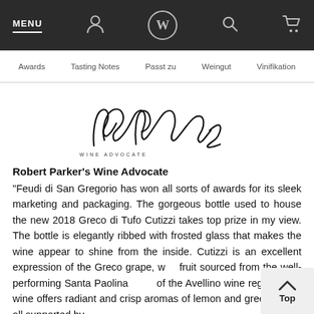MENU | W | (search) | (cart)
Awards | Tasting Notes | Passt zu | Weingut | Vinifikation
[Figure (logo): Robert Parker Wine Advocate signature logo with handwritten script and 'WINE ADVOCATE' text below]
Robert Parker's Wine Advocate
"Feudi di San Gregorio has won all sorts of awards for its sleek marketing and packaging. The gorgeous bottle used to house the new 2018 Greco di Tufo Cutizzi takes top prize in my view. The bottle is elegantly ribbed with frosted glass that makes the wine appear to shine from the inside. Cutizzi is an excellent expression of the Greco grape, with fruit sourced from the well-performing Santa Paolina zone of the Avellino wine region. This wine offers radiant and crisp aromas of lemon and green apple, all supported by